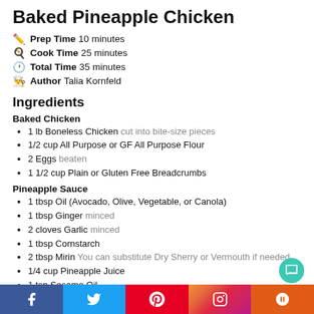Baked Pineapple Chicken
Prep Time 10 minutes
Cook Time 25 minutes
Total Time 35 minutes
Author Talia Kornfeld
Ingredients
Baked Chicken
1 lb Boneless Chicken cut into bite-size pieces
1/2 cup All Purpose or GF All Purpose Flour
2 Eggs beaten
1 1/2 cup Plain or Gluten Free Breadcrumbs
Pineapple Sauce
1 tbsp Oil (Avocado, Olive, Vegetable, or Canola)
1 tbsp Ginger minced
2 cloves Garlic minced
1 tbsp Cornstarch
2 tbsp Mirin You can substitute Dry Sherry or Vermouth if needed
1/4 cup Pineapple Juice
1 tsp Sesame Oil
3 tbsp Soy Sauce or Coconut Aminos
Facebook Twitter Pinterest Instagram Yummly